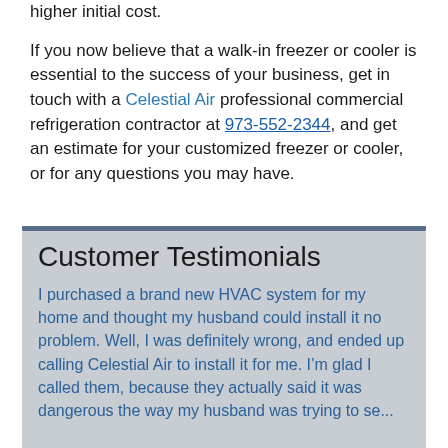higher initial cost.
If you now believe that a walk-in freezer or cooler is essential to the success of your business, get in touch with a Celestial Air professional commercial refrigeration contractor at 973-552-2344, and get an estimate for your customized freezer or cooler, or for any questions you may have.
Customer Testimonials
I purchased a brand new HVAC system for my home and thought my husband could install it no problem. Well, I was definitely wrong, and ended up calling Celestial Air to install it for me. I’m glad I called them, because they actually said it was dangerous the way my husband was trying to se...